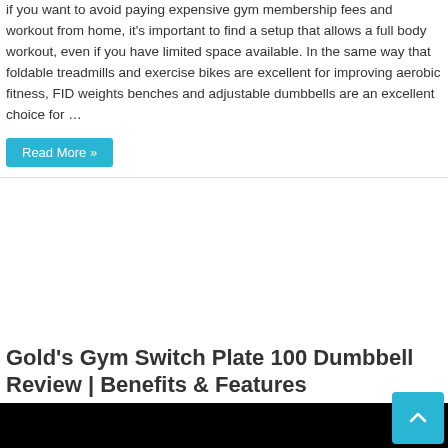if you want to avoid paying expensive gym membership fees and workout from home, it's important to find a setup that allows a full body workout, even if you have limited space available. In the same way that foldable treadmills and exercise bikes are excellent for improving aerobic fitness, FID weights benches and adjustable dumbbells are an excellent choice for …
Read More »
Gold's Gym Switch Plate 100 Dumbbell Review | Benefits & Features
★★★★☆  Dumbbells